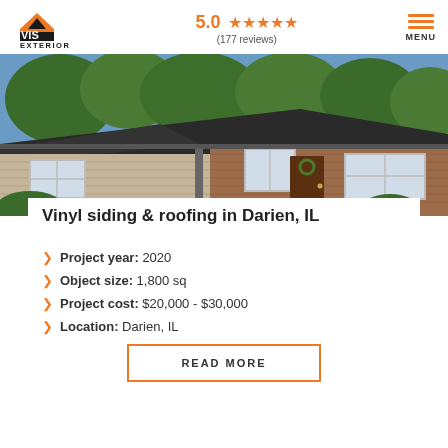VIS EXTERIOR — 5.0 ★★★★★ (177 reviews) — MENU
[Figure (photo): Exterior photo of a ranch-style house with vinyl siding and dark asphalt shingle roof, surrounded by trees]
Vinyl siding & roofing in Darien, IL
Project year: 2020
Object size: 1,800 sq
Project cost: $20,000 - $30,000
Location: Darien, IL
READ MORE